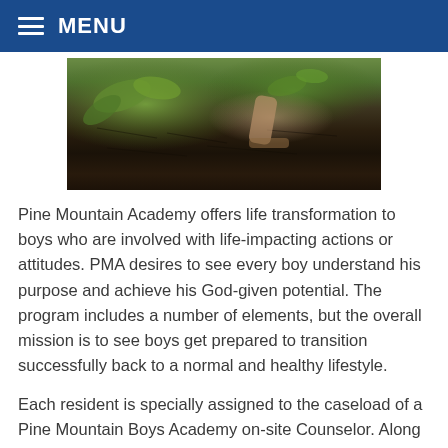MENU
[Figure (photo): A person gardening or working in a soil garden bed with green plants visible]
Pine Mountain Academy offers life transformation to boys who are involved with life-impacting actions or attitudes. PMA desires to see every boy understand his purpose and achieve his God-given potential. The program includes a number of elements, but the overall mission is to see boys get prepared to transition successfully back to a normal and healthy lifestyle.
Each resident is specially assigned to the caseload of a Pine Mountain Boys Academy on-site Counselor. Along with individual and group counseling, this Counselor is also required to make a smooth delivery of all of Pine Mountain Boys Academy's services to